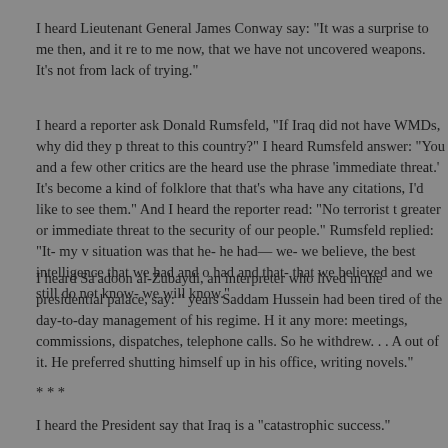I heard Lieutenant General James Conway say: "It was a surprise to me then, and it remains a surprise to me now, that we have not uncovered weapons. It's not from lack of trying."
I heard a reporter ask Donald Rumsfeld, "If Iraq did not have WMDs, why did they pose an immediate threat to this country?" I heard Rumsfeld answer: "You and a few other critics are the only ones I've heard use the phrase 'immediate threat.' It's become a kind of folklore that that's what's happened. If you have any citations, I'd like to see them." And I heard the reporter read: "No terrorist threat to this country is greater or immediate threat to the security of our people." Rumsfeld replied: "It- my view of the— of the situation was that he- he had— we- we believe, the best intelligence that we had and other countries had and that- that we believed and we still do not know- we will know."
I heard Sa'adoon al-Zubaydi, an interpreter who lived in the presidential palace, say: "In his last years Saddam Hussein had been tired of the day-to-day management of his regime. He couldn't stand it any more: meetings, commissions, dispatches, telephone calls. So he withdrew. . . A lot of them stayed out of it. He preferred shutting himself up in his office, writing novels."
* * *
I heard the President say that Iraq is a "catastrophic success."
I heard Donald Rumsfeld say: "They haven't won a single battle the entire time since